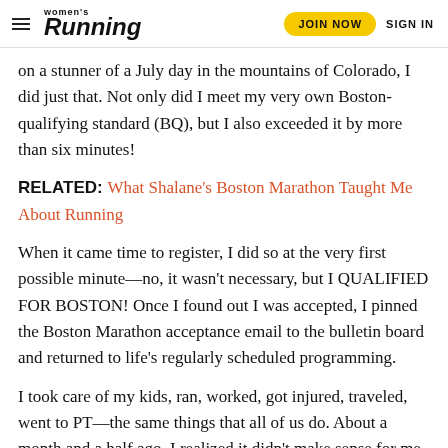women's Running | JOIN NOW | SIGN IN
on a stunner of a July day in the mountains of Colorado, I did just that. Not only did I meet my very own Boston-qualifying standard (BQ), but I also exceeded it by more than six minutes!
RELATED: What Shalane’s Boston Marathon Taught Me About Running
When it came time to register, I did so at the very first possible minute—no, it wasn’t necessary, but I QUALIFIED FOR BOSTON! Once I found out I was accepted, I pinned the Boston Marathon acceptance email to the bulletin board and returned to life’s regularly scheduled programming.
I took care of my kids, ran, worked, got injured, traveled, went to PT—the same things that all of us do. About a month and a half ago, I realized it didn’t make sense for me to run Boston this year. There was the travel and lodging expense, a stubborn